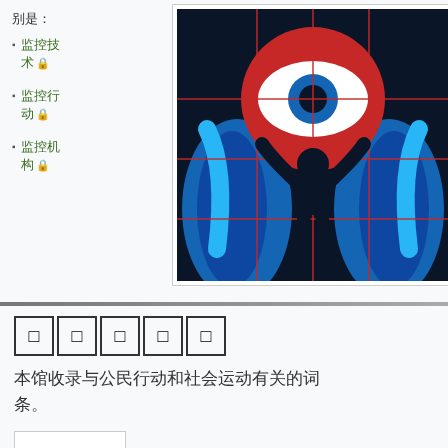别是：
监控技术 🔒
监控行动 🔒
监控机构 🔒
[Figure (illustration): Stylized illustration of a dark silhouette of a person with raised arms against a background of a large eye graphic (resembling a surveillance eye) with red, white and blue colors, and grid bars overlaid, on a dark navy background.]
□□□□□
本馆收录与公民行动和社会运动有关的词条。